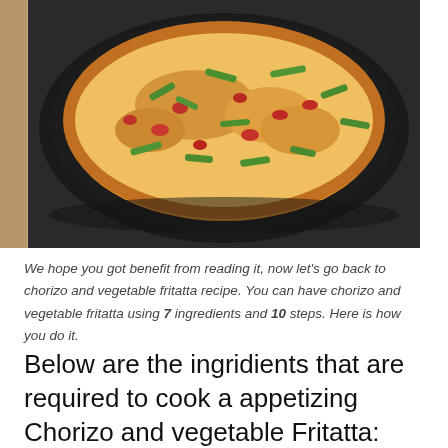[Figure (photo): A chorizo and vegetable frittata in a black cast iron skillet, topped with green bean pieces and chunks of chorizo, with a golden-brown cheese top.]
We hope you got benefit from reading it, now let's go back to chorizo and vegetable fritatta recipe. You can have chorizo and vegetable fritatta using 7 ingredients and 10 steps. Here is how you do it.
Below are the ingridients that are required to cook a appetizing Chorizo and vegetable Fritatta: